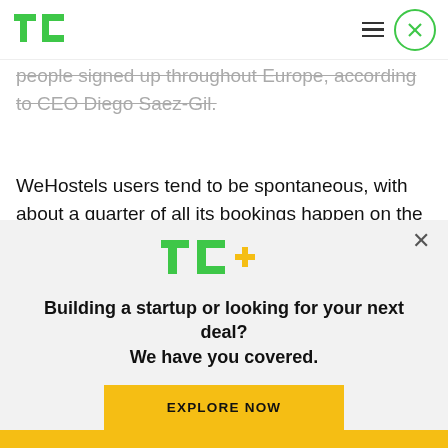TechCrunch logo and navigation
people signed up throughout Europe, according to CEO Diego Saez-Gil.
WeHostels users tend to be spontaneous, with about a quarter of all its bookings happen on the same day, and another quarter of stays are booked the day before. The rest of all its bookings usually take place within a week of a user’s stay. That
[Figure (logo): TC+ logo (TechCrunch Plus) in green and yellow]
Building a startup or looking for your next deal? We have you covered.
EXPLORE NOW